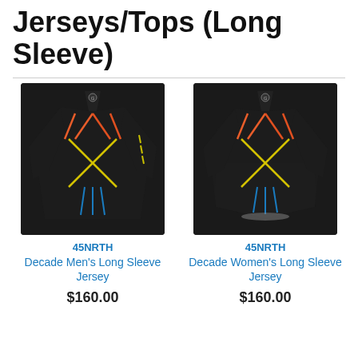Jerseys/Tops (Long Sleeve)
[Figure (photo): Black cycling jersey with colorful X-pattern details (45NRTH Decade Men's Long Sleeve Jersey)]
45NRTH
Decade Men's Long Sleeve Jersey
$160.00
[Figure (photo): Black cycling jersey with colorful X-pattern details, women's cut (45NRTH Decade Women's Long Sleeve Jersey)]
45NRTH
Decade Women's Long Sleeve Jersey
$160.00